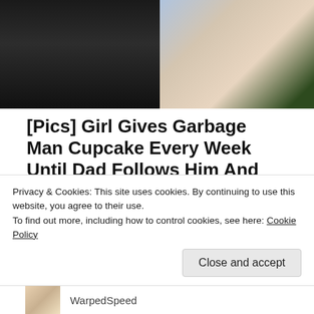[Figure (photo): Photo of a man and a young smiling child outdoors]
[Pics] Girl Gives Garbage Man Cupcake Every Week Until Dad Follows Him And Finds Out Why
HealthyGem
[Figure (photo): Thumbnail photo of a person, partially visible]
Treating metastatic breast cancer depends on many factors, including the kind of
Privacy & Cookies: This site uses cookies. By continuing to use this website, you agree to their use.
To find out more, including how to control cookies, see here: Cookie Policy
WarpedSpeed